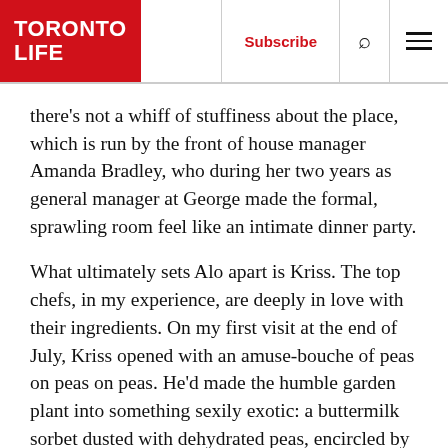TORONTO LIFE | Subscribe | 🔍 | ☰
there's not a whiff of stuffiness about the place, which is run by the front of house manager Amanda Bradley, who during her two years as general manager at George made the formal, sprawling room feel like an intimate dinner party.
What ultimately sets Alo apart is Kriss. The top chefs, in my experience, are deeply in love with their ingredients. On my first visit at the end of July, Kriss opened with an amuse-bouche of peas on peas on peas. He'd made the humble garden plant into something sexily exotic: a buttermilk sorbet dusted with dehydrated peas, encircled by dots of emulsified peas and crowned with twisting strands of pea shoots. The pea flavours were bright and distinct, an introduction for everything that followed.